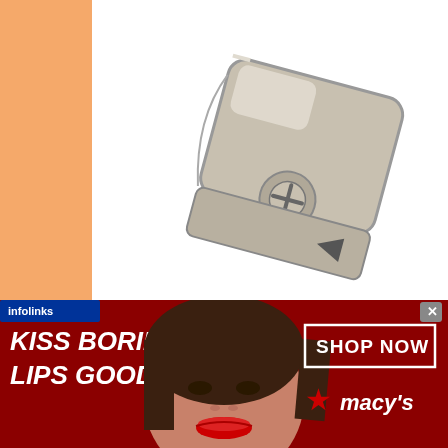[Figure (photo): Close-up product photo of a silver/chrome metal belt buckle mechanism with screws, on white background]
28584126450
[Figure (photo): Product photo of a black leather belt with metal buckle detail, on white background with faint watermark icons]
[Figure (screenshot): Infolinks advertisement banner: dark red background with white bold italic text 'KISS BORING LIPS GOODBYE', center photo of woman with red lips, right side shows 'SHOP NOW' button and Macy's star logo. Close X button top right.]